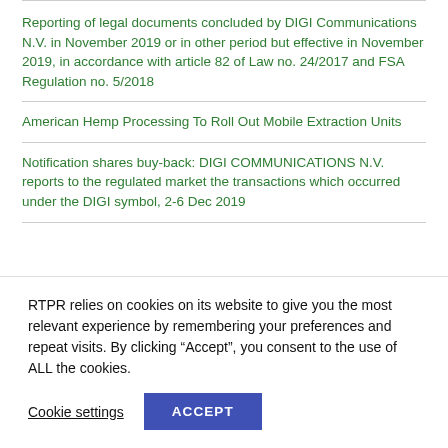Reporting of legal documents concluded by DIGI Communications N.V. in November 2019 or in other period but effective in November 2019, in accordance with article 82 of Law no. 24/2017 and FSA Regulation no. 5/2018
American Hemp Processing To Roll Out Mobile Extraction Units
Notification shares buy-back: DIGI COMMUNICATIONS N.V. reports to the regulated market the transactions which occurred under the DIGI symbol, 2-6 Dec 2019
RTPR relies on cookies on its website to give you the most relevant experience by remembering your preferences and repeat visits. By clicking “Accept”, you consent to the use of ALL the cookies.
Cookie settings
ACCEPT